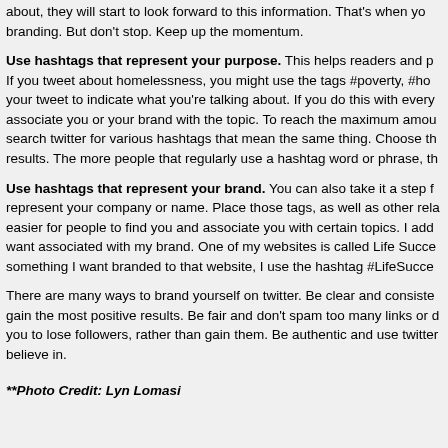about, they will start to look forward to this information. That's when you branding. But don't stop. Keep up the momentum.
Use hashtags that represent your purpose. This helps readers and people find you. If you tweet about homelessness, you might use the tags #poverty, #homelessness in your tweet to indicate what you're talking about. If you do this with every tweet, people will associate you or your brand with the topic. To reach the maximum amount of people, search twitter for various hashtags that mean the same thing. Choose the ones with the most results. The more people that regularly use a hashtag word or phrase, th...
Use hashtags that represent your brand. You can also take it a step further and use tags that represent your company or name. Place those tags, as well as other related hashtags to make it easier for people to find you and associate you with certain topics. I add hashtags to topics I want associated with my brand. One of my websites is called Life Succe... so when I write something I want branded to that website, I use the hashtag #LifeSucces...
There are many ways to brand yourself on twitter. Be clear and consistent in order to gain the most positive results. Be fair and don't spam too many links or d... as this will cause you to lose followers, rather than gain them. Be authentic and use twitter to promote what you believe in.
**Photo Credit: Lyn Lomasi